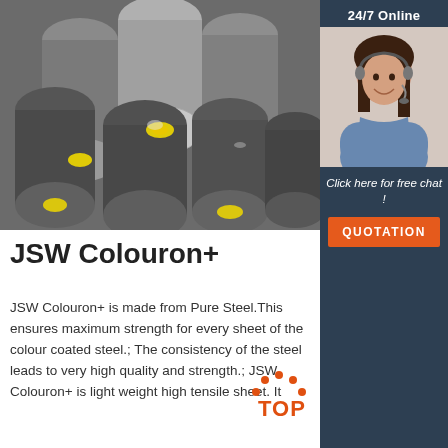[Figure (photo): Photo of multiple large steel round bars/rods stacked together, some with yellow end caps, showing heavy industrial steel stock.]
[Figure (photo): Sidebar photo of a smiling woman with dark hair wearing a headset, representing 24/7 online customer support.]
24/7 Online
Click here for free chat !
QUOTATION
JSW Colouron+
JSW Colouron+ is made from Pure Steel.This ensures maximum strength for every sheet of the colour coated steel.; The consistency of the steel leads to very high quality and strength.; JSW Colouron+ is light weight high tensile sheet. It
[Figure (logo): Orange/red 'TOP' badge logo in bottom right area of page.]